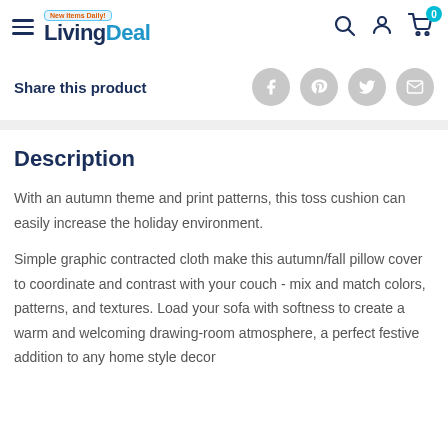LivingDeal - New Items Daily!
Share this product
Description
With an autumn theme and print patterns, this toss cushion can easily increase the holiday environment.
Simple graphic contracted cloth make this autumn/fall pillow cover to coordinate and contrast with your couch - mix and match colors, patterns, and textures. Load your sofa with softness to create a warm and welcoming drawing-room atmosphere, a perfect festive addition to any home style decor